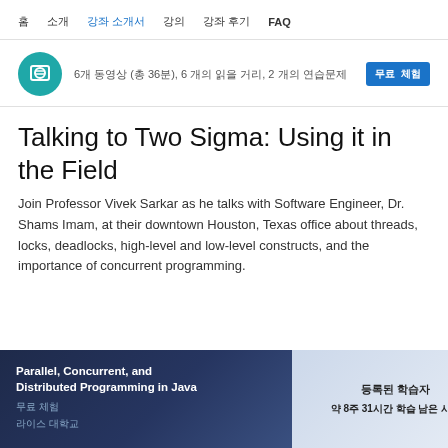홈  소개  강좌 소개서  강의  강좌 후기  FAQ
6개 동영상 (총 36분), 6 개의 읽을 거리, 2 개의 연습문제  무료 체험
Talking to Two Sigma: Using it in the Field
Join Professor Vivek Sarkar as he talks with Software Engineer, Dr. Shams Imam, at their downtown Houston, Texas office about threads, locks, deadlocks, high-level and low-level constructs, and the importance of concurrent programming.
Parallel, Concurrent, and Distributed Programming in Java 무료 체험 라이스 대학교
등록된 학습자  약 8주 31시간 학습 남은 시간